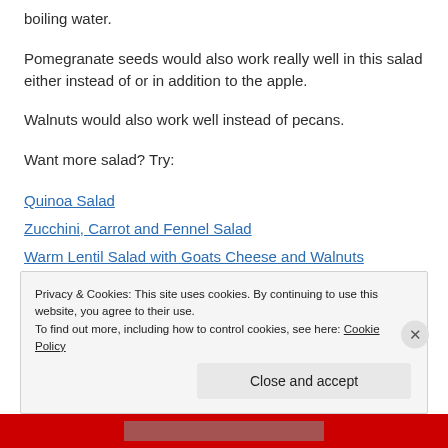boiling water.
Pomegranate seeds would also work really well in this salad either instead of or in addition to the apple.
Walnuts would also work well instead of pecans.
Want more salad? Try:
Quinoa Salad
Zucchini, Carrot and Fennel Salad
Warm Lentil Salad with Goats Cheese and Walnuts
Privacy & Cookies: This site uses cookies. By continuing to use this website, you agree to their use. To find out more, including how to control cookies, see here: Cookie Policy
Close and accept